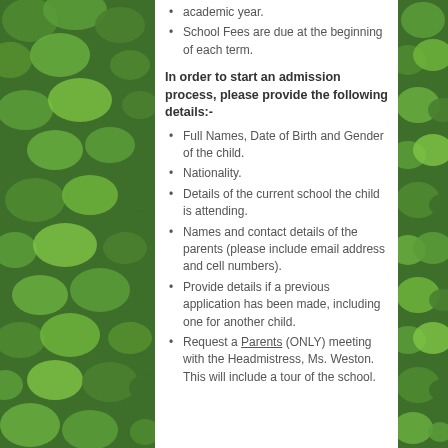academic year.
School Fees are due at the beginning of each term.
In order to start an admission process, please provide the following details:-
Full Names, Date of Birth and Gender of the child.
Nationality.
Details of the current school the child is attending.
Names and contact details of the parents (please include email address and cell numbers).
Provide details if a previous application has been made, including one for another child.
Request a Parents (ONLY) meeting with the Headmistress, Ms. Weston. This will include a tour of the school.